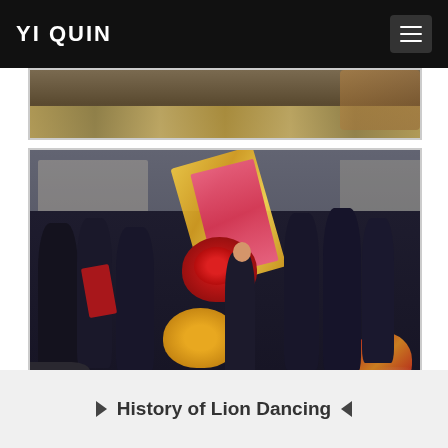YI QUIN
[Figure (photo): Partial photo showing colorful decorations on pavement, appears to be a lion dance event street scene]
[Figure (photo): Group photo of lion dance performers and participants in dark uniforms holding colorful banners with red and yellow lion dance costumes, taken outside a shop called John Anthony]
▶  History of Lion Dancing  ◀